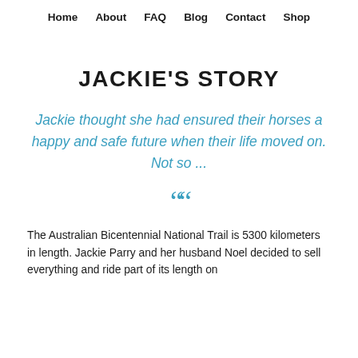Home   About   FAQ   Blog   Contact   Shop
JACKIE'S STORY
Jackie thought she had ensured their horses a happy and safe future when their life moved on. Not so ...
““
The Australian Bicentennial National Trail is 5300 kilometers in length. Jackie Parry and her husband Noel decided to sell everything and ride part of its length on